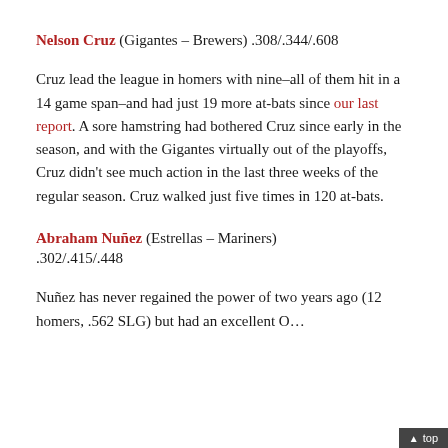Nelson Cruz (Gigantes – Brewers) .308/.344/.608
Cruz lead the league in homers with nine–all of them hit in a 14 game span–and had just 19 more at-bats since our last report. A sore hamstring had bothered Cruz since early in the season, and with the Gigantes virtually out of the playoffs, Cruz didn't see much action in the last three weeks of the regular season. Cruz walked just five times in 120 at-bats.
Abraham Nuñez (Estrellas – Mariners) .302/.415/.448
Nuñez has never regained the power of two years ago (12 homers, .562 SLG) but had an excellent O...
^ top